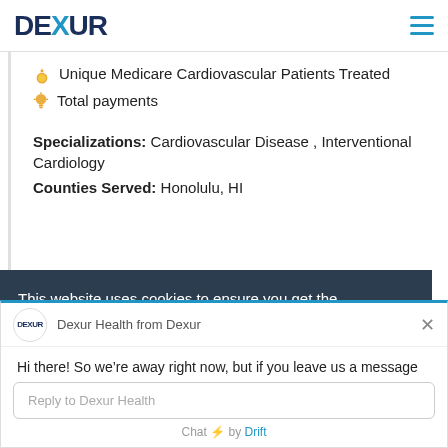DEXUR
Unique Medicare Cardiovascular Patients Treated
Total payments
Specializations: Cardiovascular Disease , Interventional Cardiology
Counties Served: Honolulu, HI
This website uses cookies to ensure you get the best experience on our website. By using...
Dexur Health from Dexur
Hi there! So we're away right now, but if you leave us a message we'll get back to you soon.
Reply to Dexur Health
Chat ⚡ by Drift